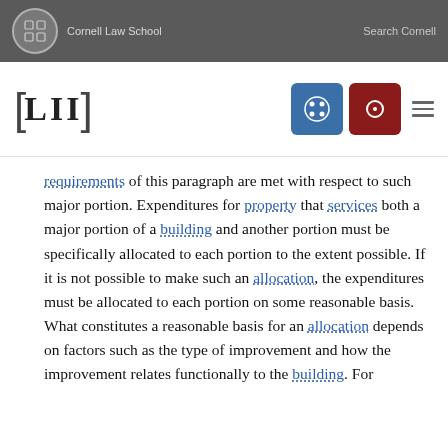Cornell Law School  Search Cornell
[Figure (logo): LII Legal Information Institute logo with Cornell Law School header]
requirements of this paragraph are met with respect to such major portion. Expenditures for property that services both a major portion of a building and another portion must be specifically allocated to each portion to the extent possible. If it is not possible to make such an allocation, the expenditures must be allocated to each portion on some reasonable basis. What constitutes a reasonable basis for an allocation depends on factors such as the type of improvement and how the improvement relates functionally to the building. For